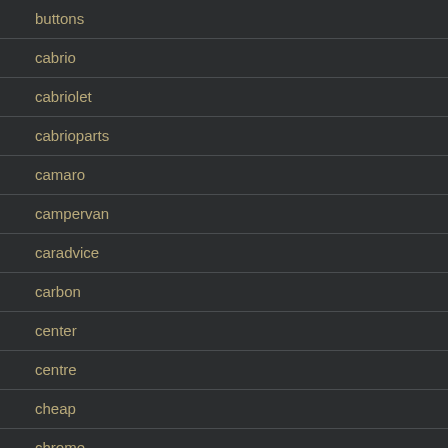buttons
cabrio
cabriolet
cabrioparts
camaro
campervan
caradvice
carbon
center
centre
cheap
chrome
clean